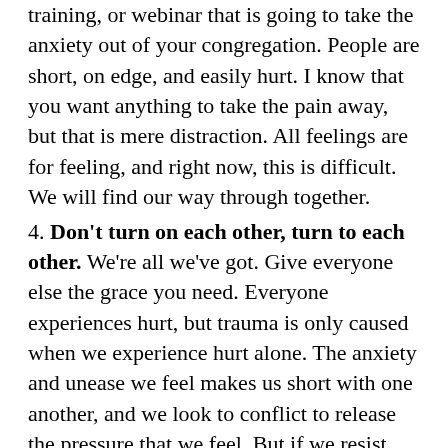training, or webinar that is going to take the anxiety out of your congregation. People are short, on edge, and easily hurt. I know that you want anything to take the pain away, but that is mere distraction. All feelings are for feeling, and right now, this is difficult. We will find our way through together.
4. Don't turn on each other, turn to each other. We're all we've got. Give everyone else the grace you need. Everyone experiences hurt, but trauma is only caused when we experience hurt alone. The anxiety and unease we feel makes us short with one another, and we look to conflict to release the pressure that we feel. But if we resist this urge, we can lean into one another and become communities of support and resilience.
5. You don't have to do anything. Nothing is